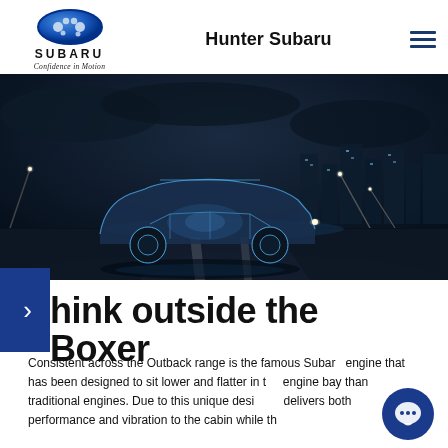Hunter Subaru
[Figure (logo): Subaru star logo with text SUBARU and tagline Confidence in Motion]
[Figure (photo): A Subaru Outback with transparent chassis visible, driving on a wet road at night with city lights in background]
Think outside the Boxer
Consistent across the Outback range is the famous Subaru engine that has been designed to sit lower and flatter in the engine bay than traditional engines. Due to this unique design, it delivers both performance and vibration to the cabin while the